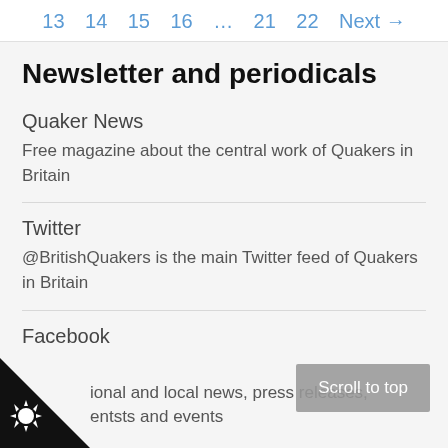13 14 15 16 … 21 22 Next →
Newsletter and periodicals
Quaker News
Free magazine about the central work of Quakers in Britain
Twitter
@BritishQuakers is the main Twitter feed of Quakers in Britain
Facebook
…ional and local news, press releases, entsts and events